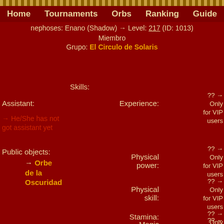Home | Tournaments | Orbs | Ranking | Guide
nephoses: Enano (Shadow) → Level: 217 (ID: 1013)
Miembro
Grupo: El Circulo de Solaris
Skills:
Assistant:
→ He/She has not got assistant yet
Public objects:
→ Orbe de la Oscuridad
Experience: ?? → Only for VIP users
Physical power: ?? → Only for VIP users
Physical skill: ?? → Only for VIP users
Stamina: ?? → Only for VIP users
Magic: Only